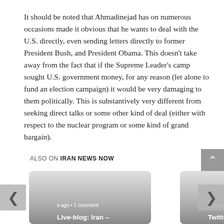It should be noted that Ahmadinejad has on numerous occasions made it obvious that he wants to deal with the U.S. directly, even sending letters directly to former President Bush, and President Obama. This doesn't take away from the fact that if the Supreme Leader's camp sought U.S. government money, for any reason (let alone to fund an election campaign) it would be very damaging to them politically. This is substantively very different from seeking direct talks or some other kind of deal (either with respect to the nuclear program or some kind of grand bargain).
ALSO ON IRAN NEWS NOW
[Figure (screenshot): Two article cards side by side with gradient gray background. Left card shows: 's ago • 1 comment' and title 'Live-blog: Iran –'. Right card shows: '9 years ago • 1' and title 'Twitter Foun'. Navigation arrows (‹ and ›) are visible on the sides.]